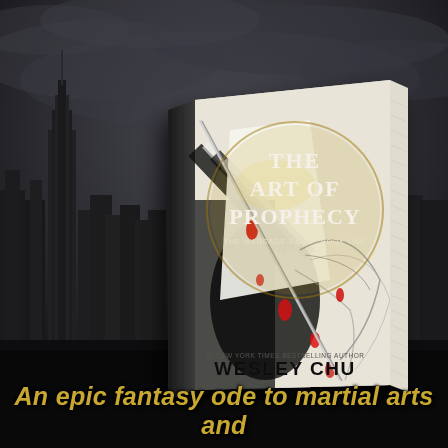[Figure (photo): A hardcover book titled 'The Art of Prophecy: The Warsage Saga, Book One' by Wesley Chu (#1 New York Times Bestselling Author), shown at an angle against a dark, moody cityscape background (Chicago skyline, overcast sky). The book cover features a gold circle with the title text, and dramatic black-and-white artwork of a figure with red accents and flowing hair/dragon imagery.]
An epic fantasy ode to martial arts and